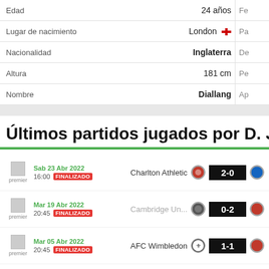| Campo | Valor | Extra |
| --- | --- | --- |
| Edad | 24 años | Fe |
| Lugar de nacimiento | London 🏴󠁧󠁢󠁥󠁮󠁧󠁿 | Pa |
| Nacionalidad | Inglaterra | De |
| Altura | 181 cm | Pe |
| Nombre | Diallang | Ap |
Últimos partidos jugados por D. Jai
Sab 23 Abr 2022 16:00 FINALIZADO — Charlton Athletic 2-0
Mar 19 Abr 2022 20:45 FINALIZADO — Cambridge Un... 0-2
Mar 05 Abr 2022 20:45 FINALIZADO — AFC Wimbledon 1-1
Sab 19 Mar 2022 16:00 FINALIZADO — Charlton Athletic 2-0